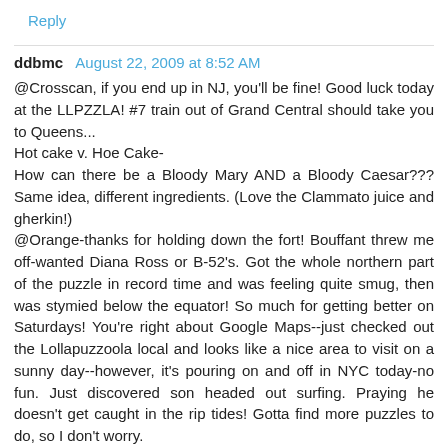Reply
ddbmc   August 22, 2009 at 8:52 AM
@Crosscan, if you end up in NJ, you'll be fine! Good luck today at the LLPZZLA! #7 train out of Grand Central should take you to Queens...
Hot cake v. Hoe Cake-
How can there be a Bloody Mary AND a Bloody Caesar??? Same idea, different ingredients. (Love the Clammato juice and gherkin!)
@Orange-thanks for holding down the fort! Bouffant threw me off-wanted Diana Ross or B-52's. Got the whole northern part of the puzzle in record time and was feeling quite smug, then was stymied below the equator! So much for getting better on Saturdays! You're right about Google Maps--just checked out the Lollapuzzoola local and looks like a nice area to visit on a sunny day--however, it's pouring on and off in NYC today-no fun. Just discovered son headed out surfing. Praying he doesn't get caught in the rip tides! Gotta find more puzzles to do, so I don't worry.
Reply